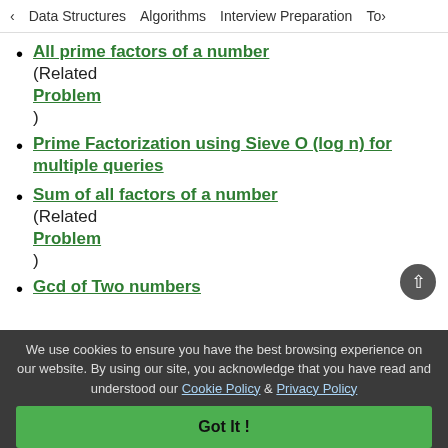< Data Structures   Algorithms   Interview Preparation   Top>
All prime factors of a number (Related Problem )
Prime Factorization using Sieve O (log n) for multiple queries
Sum of all factors of a number (Related Problem )
Gcd of Two numbers
We use cookies to ensure you have the best browsing experience on our website. By using our site, you acknowledge that you have read and understood our Cookie Policy & Privacy Policy
Got It !